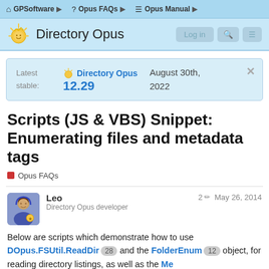GPSoftware  Opus FAQs  Opus Manual
Directory Opus
Latest stable: Directory Opus 12.29  August 30th, 2022
Scripts (JS & VBS) Snippet: Enumerating files and metadata tags
Opus FAQs
Leo
Directory Opus developer
2 edits  May 26, 2014
Below are scripts which demonstrate how to use DOpus.FSUtil.ReadDir 28 and the FolderEnum 12 object, for reading directory listings, as well as the Me collection for listing any user-defined tags
1 / 24